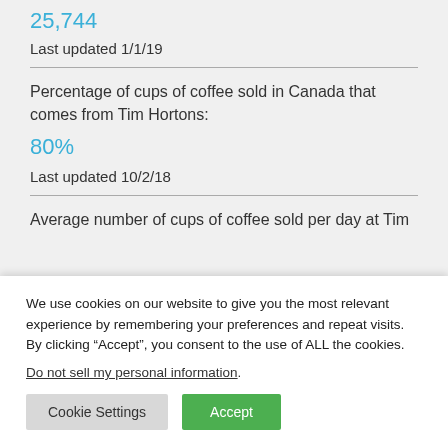25,744
Last updated 1/1/19
Percentage of cups of coffee sold in Canada that comes from Tim Hortons:
80%
Last updated 10/2/18
Average number of cups of coffee sold per day at Tim
We use cookies on our website to give you the most relevant experience by remembering your preferences and repeat visits. By clicking “Accept”, you consent to the use of ALL the cookies.
Do not sell my personal information.